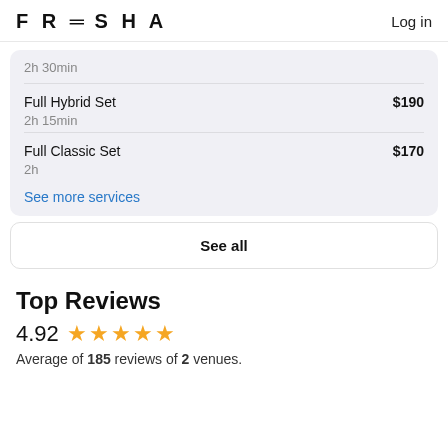FRESHA   Log in
2h 30min
Full Hybrid Set  $190  2h 15min
Full Classic Set  $170  2h
See more services
See all
Top Reviews
4.92 ★★★★★
Average of 185 reviews of 2 venues.